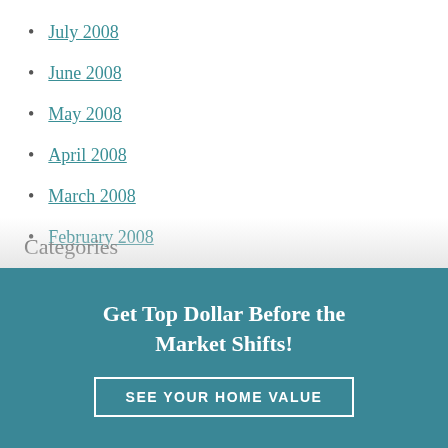July 2008
June 2008
May 2008
April 2008
March 2008
February 2008
December 201
Categories
Get Top Dollar Before the Market Shifts!
SEE YOUR HOME VALUE